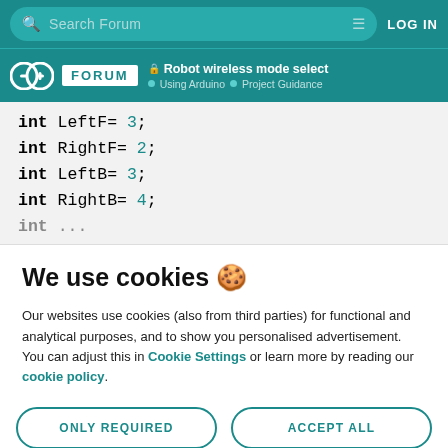Search Forum | LOG IN
FORUM | Robot wireless mode select | Using Arduino | Project Guidance
int LeftF= 3;
int RightF= 2;
int LeftB= 3;
int RightB= 4;
int ...
We use cookies 🍪
Our websites use cookies (also from third parties) for functional and analytical purposes, and to show you personalised advertisement. You can adjust this in Cookie Settings or learn more by reading our cookie policy.
ONLY REQUIRED | ACCEPT ALL